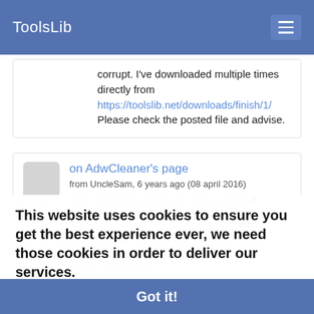ToolsLib
corrupt. I've downloaded multiple times directly from https://toolslib.net/downloads/finish/1/ Please check the posted file and advise.
on AdwCleaner's page
from UncleSam, 6 years ago (08 april 2016)
UPD. Например в свойствах ярлыка Internet Explorer.lnk который будет находиться по одному из пяти описанных...
This website uses cookies to ensure you get the best experience ever, we need those cookies in order to deliver our services.
More information
Got it!
on AdwCleaner's page
from BakUDM, 6 years ago (21 march 2016)
For some reason after the last update it's detectin